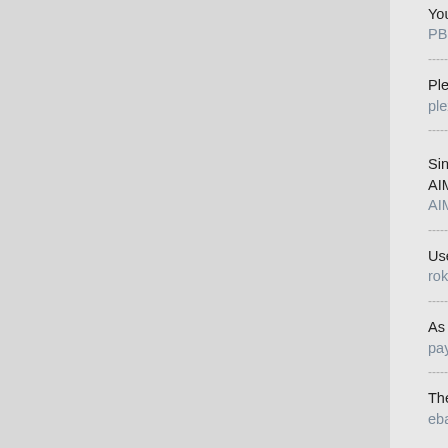You will find PBS Kids on the Roku under the 'Kids & Fa...
PBSkids.org/activate
Plex is a media server where you can save your movies...
plex.tv/link
Since AIM has discontinued its operations, many users a... AIM Mail Login page.
AIM Mail Login
Use the mobile app or Roku.com/link remote app to con...
roku.com/link
As we are proceeding with digitalization, Paypal makes i...
paypal login |paypal login | paypal login
The eBay usa site shop can be accessed by the official a...
ebay login | ebay login
Amazon Prime is a paid subscription from Amazon that g...
amazon Login